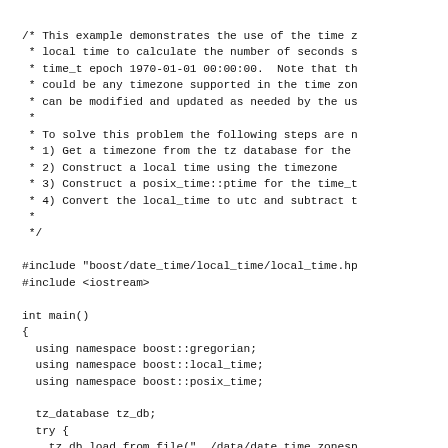/* This example demonstrates the use of the time z
 * local time to calculate the number of seconds s
 * time_t epoch 1970-01-01 00:00:00.  Note that th
 * could be any timezone supported in the time zon
 * can be modified and updated as needed by the us
 *
 * To solve this problem the following steps are r
 * 1) Get a timezone from the tz database for the
 * 2) Construct a local time using the timezone
 * 3) Construct a posix_time::ptime for the time_t
 * 4) Convert the local_time to utc and subtract t
 *
 */

#include "boost/date_time/local_time/local_time.hp
#include <iostream>

int main()
{
  using namespace boost::gregorian;
  using namespace boost::local_time;
  using namespace boost::posix_time;

  tz_database tz_db;
  try {
    tz_db.load_from_file("../data/date_time_zonesp
  }catch(data_not_accessible dna) {
    std::cerr << "Error with time zone data file:
    exit(EXIT_FAILURE);
  }catch(bad_field_count bfc) {